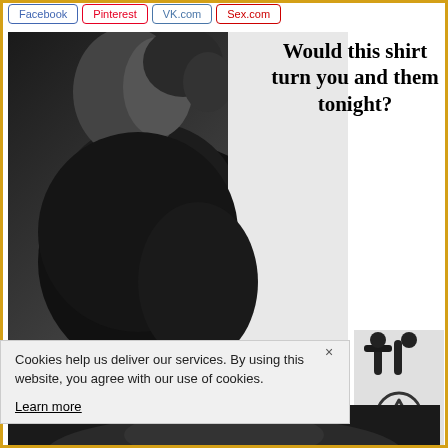Facebook | Pinterest | VK.com | Sex.com
[Figure (photo): Black and white photo of a woman in a dark shirt with text overlay: 'Would this shirt turn you and them tonight?']
[Figure (photo): Small image showing a door handle and an upward chevron circle icon]
Cookies help us deliver our services. By using this website, you agree with our use of cookies.
Learn more
[Figure (photo): Partial bottom strip showing a person in dark clothing]